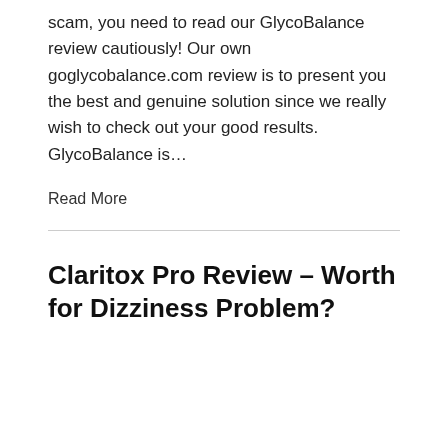scam, you need to read our GlycoBalance review cautiously! Our own goglycobalance.com review is to present you the best and genuine solution since we really wish to check out your good results. GlycoBalance is…
Read More
Claritox Pro Review – Worth for Dizziness Problem?